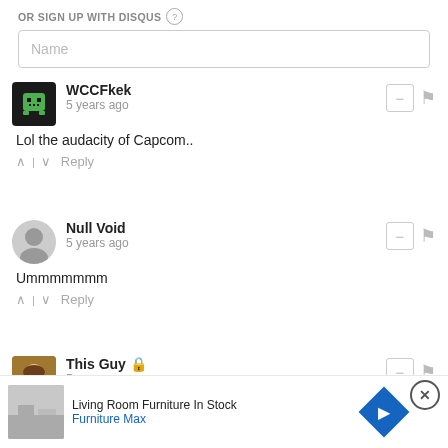OR SIGN UP WITH DISQUS ?
Name
WCCFkek
5 years ago
Lol the audacity of Capcom..
Null Void
5 years ago
Ummmmmmm
This Guy
5 years ago
this game STILL doesn't have an arcade mode?!? WTF?!? People paid money for this?
Living Room Furniture In Stock
Furniture Max